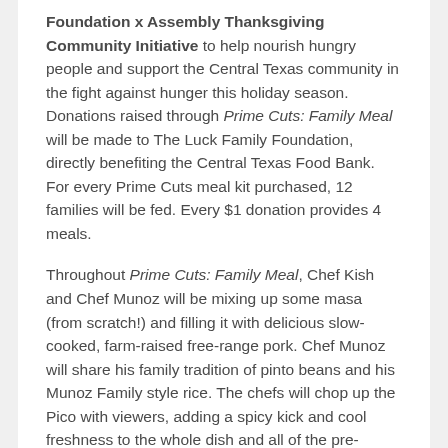Foundation x Assembly Thanksgiving Community Initiative to help nourish hungry people and support the Central Texas community in the fight against hunger this holiday season. Donations raised through Prime Cuts: Family Meal will be made to The Luck Family Foundation, directly benefiting the Central Texas Food Bank. For every Prime Cuts meal kit purchased, 12 families will be fed. Every $1 donation provides 4 meals.
Throughout Prime Cuts: Family Meal, Chef Kish and Chef Munoz will be mixing up some masa (from scratch!) and filling it with delicious slow-cooked, farm-raised free-range pork. Chef Munoz will share his family tradition of pinto beans and his Munoz Family style rice. The chefs will chop up the Pico with viewers, adding a spicy kick and cool freshness to the whole dish and all of the pre-ordered meal kit produce and proteins are farm-raised from local